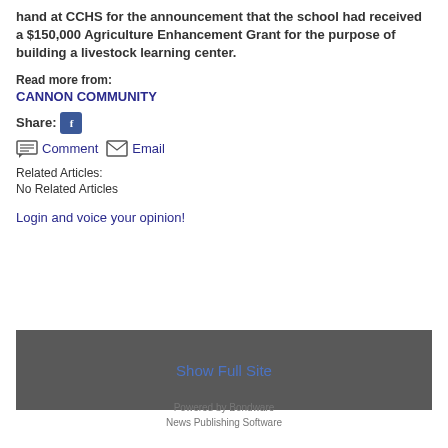hand at CCHS for the announcement that the school had received a $150,000 Agriculture Enhancement Grant for the purpose of building a livestock learning center.
Read more from:
CANNON COMMUNITY
Share:
Comment  Email
Related Articles:
No Related Articles
Login and voice your opinion!
Show Full Site
Powered by Bondware
News Publishing Software